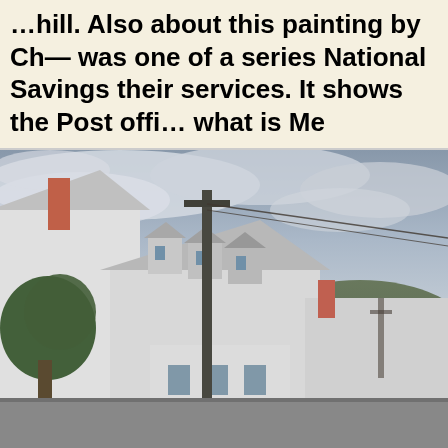was one of a series National Savings their services. It shows the Post offi what is Me
[Figure (photo): Photograph of white buildings with slate roofs and dormers, a telegraph pole in the foreground, a tree on the left, chimneys visible, rolling hills in the background, under an overcast grey sky. Appears to be a small town or village in the UK.]